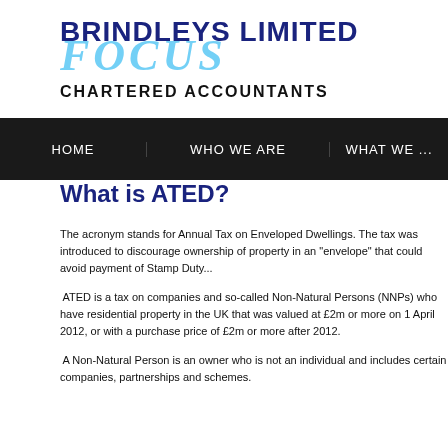BRINDLEYS LIMITED
FOCUS
CHARTERED ACCOUNTANTS
HOME | WHO WE ARE | WHAT WE ...
What is ATED?
The acronym stands for Annual Tax on Enveloped Dwellings. The tax was introduced to discourage ownership of property in an "envelope" that could avoid payment of Stamp Duty...
ATED is a tax on companies and so-called Non-Natural Persons (NNPs) who have residential property in the UK that was valued at £2m or more on 1 April 2012, or with a purchase price of £2m or more after 2012.
A Non-Natural Person is an owner who is not an individual and includes certain companies, partnerships and schemes.